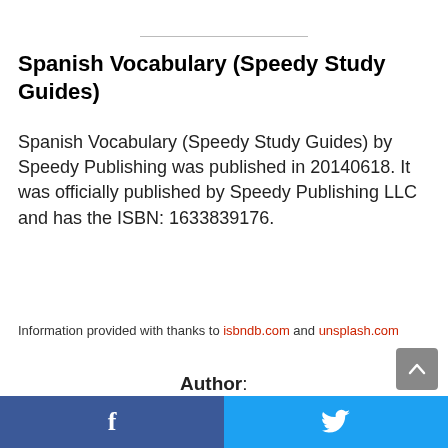Spanish Vocabulary (Speedy Study Guides)
Spanish Vocabulary (Speedy Study Guides) by Speedy Publishing was published in 20140618. It was officially published by Speedy Publishing LLC and has the ISBN: 1633839176.
Information provided with thanks to isbndb.com and unsplash.com
Author: Speedy Publishing
Amazon >
Date
f   [Twitter bird icon]